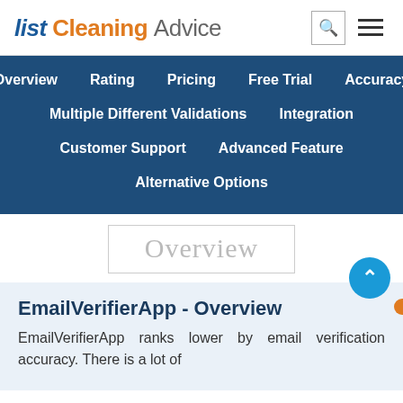List Cleaning Advice
Overview  Rating  Pricing  Free Trial  Accuracy  Multiple Different Validations  Integration  Customer Support  Advanced Feature  Alternative Options
Overview
EmailVerifierApp - Overview
EmailVerifierApp ranks lower by email verification accuracy. There is a lot of